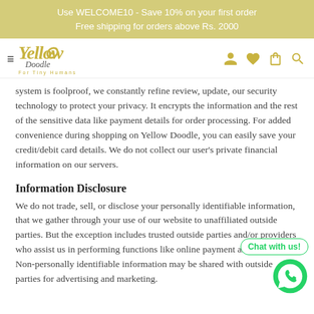Use WELCOME10 - Save 10% on your first order
Free shipping for orders above Rs. 2000
[Figure (logo): Yellow Doodle logo - stylized text logo with hamburger menu icon on left and navigation icons (user, heart, bag, search) on right]
system is foolproof, we constantly refine review, update, our security technology to protect your privacy. It encrypts the information and the rest of the sensitive data like payment details for order processing. For added convenience during shopping on Yellow Doodle, you can easily save your credit/debit card details. We do not collect our user's private financial information on our servers.
Information Disclosure
We do not trade, sell, or disclose your personally identifiable information, that we gather through your use of our website to unaffiliated outside parties. But the exception includes trusted outside parties and/or providers who assist us in performing functions like online payment and delivery. Non-personally identifiable information may be shared with outside parties for advertising and marketing.